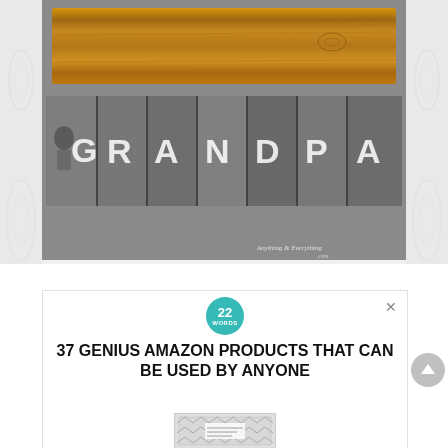[Figure (photo): A craft project photo showing a rustic wooden board (plank) on top, and below it a black-and-white photo strip spelling out 'GRANDPA' with large letters overlaid on individual photos. Watermark reads 'Anything & Everything']
[Figure (infographic): Advertisement panel: '22 Words' logo in teal circle, bold headline '37 GENIUS AMAZON PRODUCTS THAT CAN BE USED BY ANYONE', close X button, scroll-up arrow button, partial product image at bottom]